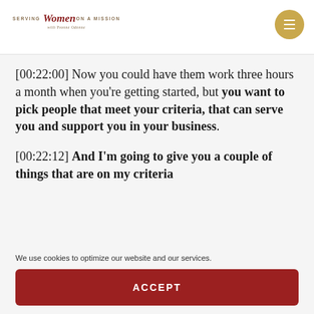[Figure (logo): Serving Women on a Mission logo with script 'Women' in red and small caps text]
[00:22:00] Now you could have them work three hours a month when you're getting started, but you want to pick people that meet your criteria, that can serve you and support you in your business.
[00:22:12] And I'm going to give you a couple of things that are on my criteria
We use cookies to optimize our website and our services.
ACCEPT